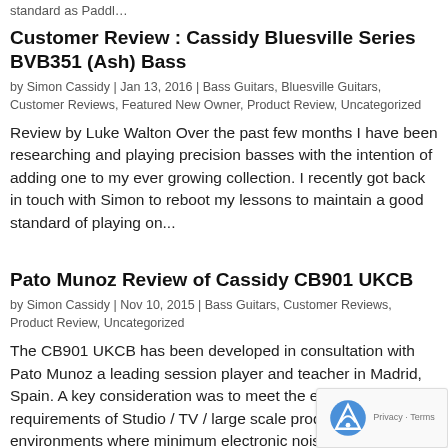standard as Paddl…
Customer Review : Cassidy Bluesville Series BVB351 (Ash) Bass
by Simon Cassidy | Jan 13, 2016 | Bass Guitars, Bluesville Guitars, Customer Reviews, Featured New Owner, Product Review, Uncategorized
Review by Luke Walton Over the past few months I have been researching and playing precision basses with the intention of adding one to my ever growing collection. I recently got back in touch with Simon to reboot my lessons to maintain a good standard of playing on...
Pato Munoz Review of Cassidy CB901 UKCB
by Simon Cassidy | Nov 10, 2015 | Bass Guitars, Customer Reviews, Product Review, Uncategorized
The CB901 UKCB has been developed in consultation with Pato Munoz a leading session player and teacher in Madrid, Spain. A key consideration was to meet the exacting requirements of Studio / TV / large scale product environments where minimum electronic noise is…